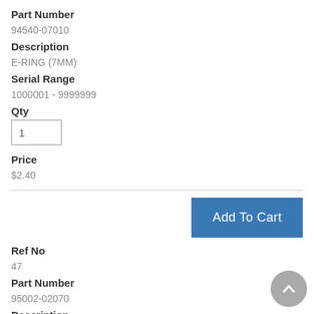Part Number
94540-07010
Description
E-RING (7MM)
Serial Range
1000001 - 9999999
Qty
Price
$2.40
Add To Cart
Ref No
47
Part Number
95002-02070
Description
CLIP, TUBE (B7)
Serial Range
1000001 - 9999999